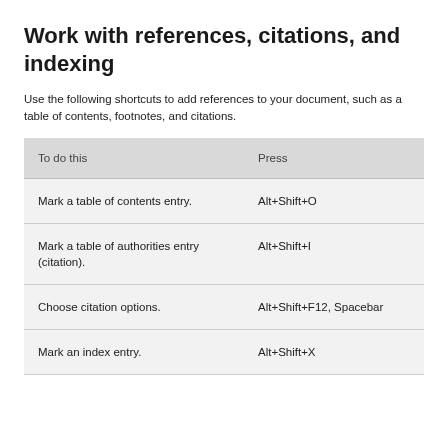Work with references, citations, and indexing
Use the following shortcuts to add references to your document, such as a table of contents, footnotes, and citations.
| To do this | Press |
| --- | --- |
| Mark a table of contents entry. | Alt+Shift+O |
| Mark a table of authorities entry (citation). | Alt+Shift+I |
| Choose citation options. | Alt+Shift+F12, Spacebar |
| Mark an index entry. | Alt+Shift+X |